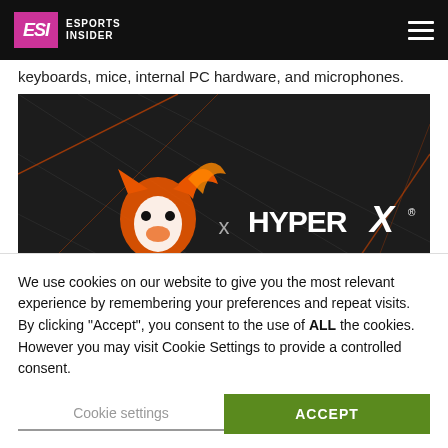ESI ESPORTS INSIDER
keyboards, mice, internal PC hardware, and microphones.
[Figure (photo): Echo Fox x HyperX partnership promotional image showing the Echo Fox logo (orange fox head) and HyperX logo side by side on a dark background with a gaming keyboard.]
We use cookies on our website to give you the most relevant experience by remembering your preferences and repeat visits. By clicking “Accept”, you consent to the use of ALL the cookies. However you may visit Cookie Settings to provide a controlled consent.